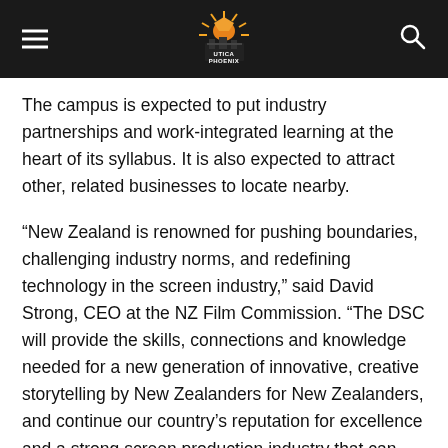Utica Phoenix
The campus is expected to put industry partnerships and work-integrated learning at the heart of its syllabus. It is also expected to attract other, related businesses to locate nearby.
“New Zealand is renowned for pushing boundaries, challenging industry norms, and redefining technology in the screen industry,” said David Strong, CEO at the NZ Film Commission. “The DSC will provide the skills, connections and knowledge needed for a new generation of innovative, creative storytelling by New Zealanders for New Zealanders, and continue our country’s reputation for excellence and a strong screen production industry that can compete globally.”